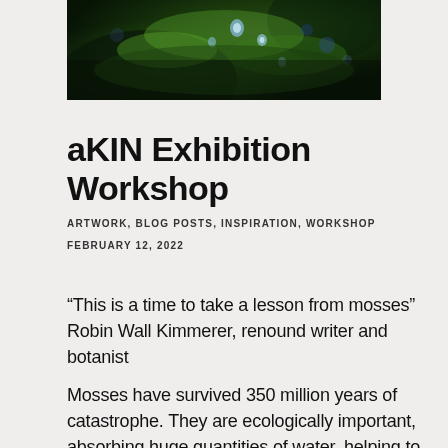[Figure (photo): Close-up macro photo of green moss or plant with water droplets, dark background]
aKIN Exhibition Workshop
ARTWORK, BLOG POSTS, INSPIRATION, WORKSHOP
FEBRUARY 12, 2022
“This is a time to take a lesson from mosses” Robin Wall Kimmerer, renound writer and botanist
Mosses have survived 350 million years of catastrophe. They are ecologically important, absorbing huge quantities of water, helping to